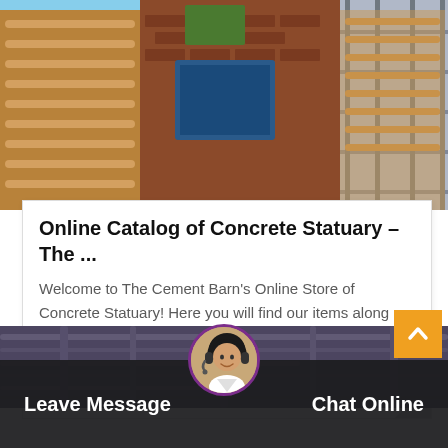[Figure (photo): Construction building exterior with scaffolding, brick and curved architectural elements against blue sky]
Online Catalog of Concrete Statuary - The ...
Welcome to The Cement Barn's Online Store of Concrete Statuary! Here you will find our items along with prices, pictures, and dimensions. Please browse around and...
Get Price
[Figure (photo): Industrial interior with pipes and machinery in dark purple/gray tones]
Leave Message
Chat Online